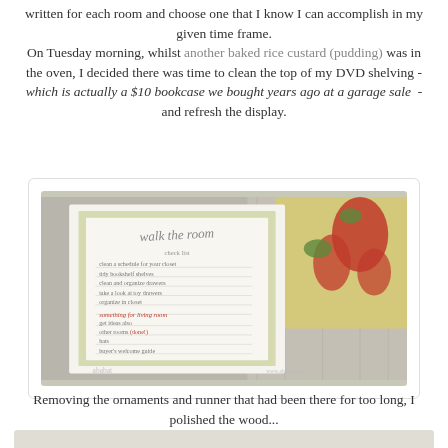written for each room and choose one that I know I can accomplish in my given time frame. On Tuesday morning, whilst another baked rice custard (pudding) was in the oven, I decided there was time to clean the top of my DVD shelving - which is actually a $10 bookcase we bought years ago at a garage sale - and refresh the display.
[Figure (photo): Photo of handwritten notes or a journal/checklist titled 'walk the room' with a list of tasks written in handwriting, alongside some fabric/textile items with a floral pattern on a wooden surface.]
Removing the ornaments and runner that had been there for too long, I polished the wood...